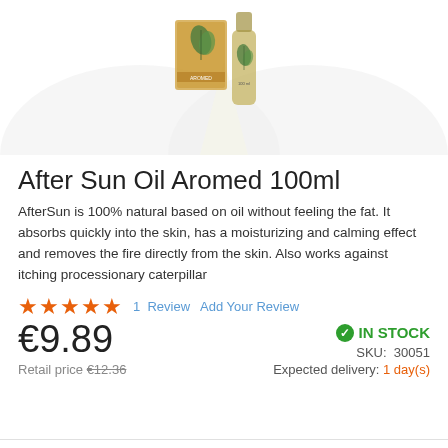[Figure (photo): Product photo showing two Aromed After Sun Oil 100ml bottles/packages with herbal imagery, displayed on a light background with decorative wing-like shapes]
After Sun Oil Aromed 100ml
AfterSun is 100% natural based on oil without feeling the fat. It absorbs quickly into the skin, has a moisturizing and calming effect and removes the fire directly from the skin. Also works against itching processionary caterpillar
★★★★★  1 Review  Add Your Review
€9.89  IN STOCK  SKU: 30051  Retail price €12.36  Expected delivery: 1 day(s)